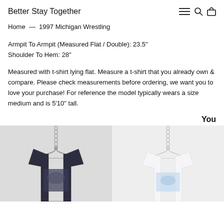Better Stay Together
Home — 1997 Michigan Wrestling
Armpit To Armpit (Measured Flat / Double): 23.5"
Shoulder To Hem: 28"
Measured with t-shirt lying flat. Measure a t-shirt that you already own & compare. Please check measurements before ordering, we want you to love your purchase! For reference the model typically wears a size medium and is 5'10" tall.
You
[Figure (photo): Dark navy t-shirt hanging from a metal chain on a hanger against a light gray background]
[Figure (photo): White/light t-shirt with blue graphic print hanging from a chain on a hanger against a light background]